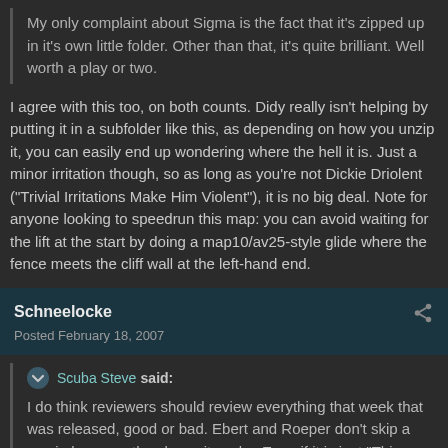My only complaint about Sigma is the fact that it's zipped up in it's own little folder. Other than that, it's quite brilliant. Well worth a play or two.
I agree with this too, on both counts. Didy really isn't helping by putting it in a subfolder like this, as depending on how you unzip it, you can easily end up wondering where the hell it is. Just a minor irritation though, so as long as you're not Dickie Driolent ("Trivial Irritations Make Him Violent"), it is no big deal. Note for anyone looking to speedrun this map: you can avoid waiting for the lift at the start by doing a map10/av25-style glide where the fence meets the cliff wall at the left-hand end.
Schneelocke
Posted February 18, 2007
Scuba Steve said:
I do think reviewers should review everything that week that was released, good or bad. Ebert and Roeper don't skip a movie because they know it sucks. Even if it is just "This map